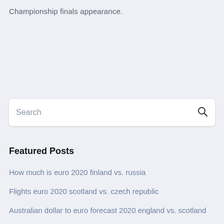Championship finals appearance.
Search
Featured Posts
How much is euro 2020 finland vs. russia
Flights euro 2020 scotland vs. czech republic
Australian dollar to euro forecast 2020 england vs. scotland